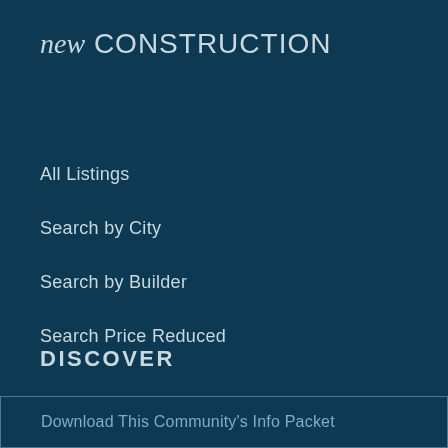new CONSTRUCTION
All Listings
Search by City
Search by Builder
Search Price Reduced
DISCOVER
Search Listings
Download This Community's Info Packet